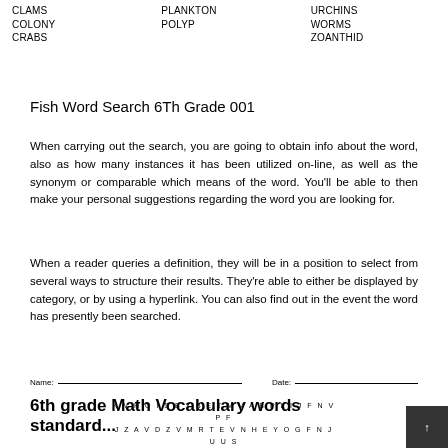CLAMS
COLONY
CRABS
PLANKTON
POLYP
URCHINS
WORMS
ZOANTHID
Fish Word Search 6Th Grade 001
When carrying out the search, you are going to obtain info about the word, also as how many instances it has been utilized on-line, as well as the synonym or comparable which means of the word. You'll be able to then make your personal suggestions regarding the word you are looking for.
When a reader queries a definition, they will be in a position to select from several ways to structure their results. They're able to either be displayed by category, or by using a hyperlink. You can also find out in the event the word has presently been searched.
Name: _____________________________ Date: ______________
6th grade Math Vocabulary words standard...
K V H O I S B Y B E T M V A B P L I J F N V P F
J Z A V D Z V M R T E V N H E Y O G F N J U U S